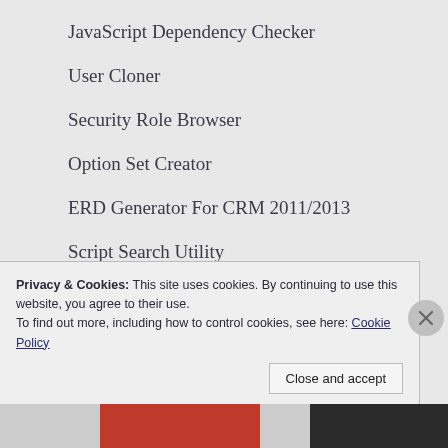JavaScript Dependency Checker
User Cloner
Security Role Browser
Option Set Creator
ERD Generator For CRM 2011/2013
Script Search Utility
CRM Script Helpers
Read Option Set Text In One Go
Privacy & Cookies: This site uses cookies. By continuing to use this website, you agree to their use.
To find out more, including how to control cookies, see here: Cookie Policy
Close and accept